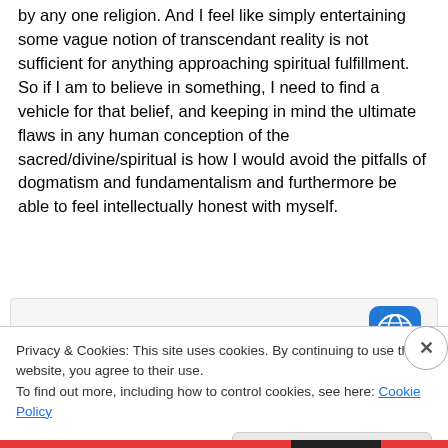by any one religion. And I feel like simply entertaining some vague notion of transcendant reality is not sufficient for anything approaching spiritual fulfillment. So if I am to believe in something, I need to find a vehicle for that belief, and keeping in mind the ultimate flaws in any human conception of the sacred/divine/spiritual is how I would avoid the pitfalls of dogmatism and fundamentalism and furthermore be able to feel intellectually honest with myself.
[Figure (screenshot): App banner with 'GET THE APP' text in blue and a WordPress-style circular icon on the right]
Privacy & Cookies: This site uses cookies. By continuing to use this website, you agree to their use. To find out more, including how to control cookies, see here: Cookie Policy
Close and accept